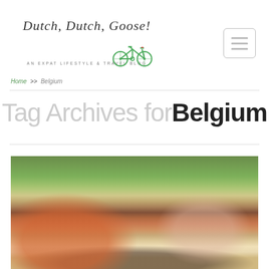Dutch, Dutch, Goose! — AN EXPAT LIFESTYLE & TRAVEL BLOG
Home >> Belgium
Tag Archives for Belgium
[Figure (photo): Family group on a large red cart/wagon on a path, surrounded by greenery. A man in an orange shirt and cap on the left, a woman in a striped shirt on the right, children and adults seated in the middle on the wagon.]